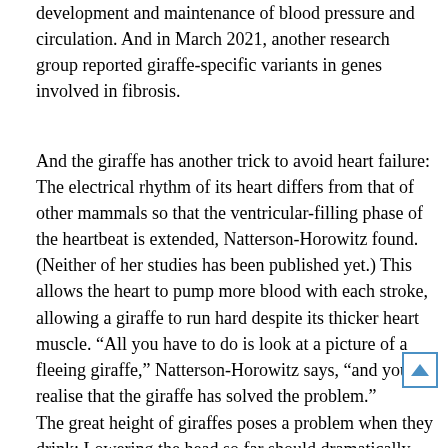development and maintenance of blood pressure and circulation. And in March 2021, another research group reported giraffe-specific variants in genes involved in fibrosis.
And the giraffe has another trick to avoid heart failure: The electrical rhythm of its heart differs from that of other mammals so that the ventricular-filling phase of the heartbeat is extended, Natterson-Horowitz found. (Neither of her studies has been published yet.) This allows the heart to pump more blood with each stroke, allowing a giraffe to run hard despite its thicker heart muscle. “All you have to do is look at a picture of a fleeing giraffe,” Natterson-Horowitz says, “and you realise that the giraffe has solved the problem.”
The great height of giraffes poses a problem when they drink: Lowering the head so far should dramatically